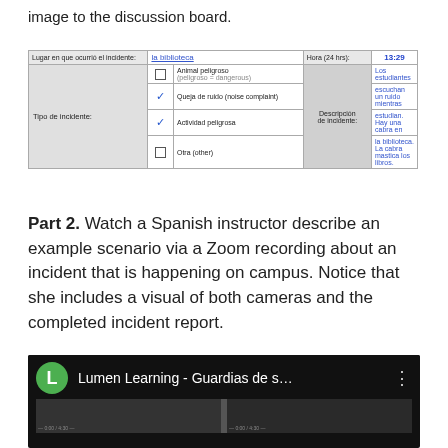image to the discussion board.
[Figure (screenshot): Incident report form in Spanish showing a library incident. Fields include 'Lugar en que ocurrió el incidente' (la biblioteca), 'Hora (24 hrs): 13:29', 'Tipo de incidente' with checkboxes for Animal peligroso, Queja de ruido (checked), Actividad peligrosa (checked), Otra; and a description field with blue text about goats eating books.]
Part 2. Watch a Spanish instructor describe an example scenario via a Zoom recording about an incident that is happening on campus. Notice that she includes a visual of both cameras and the completed incident report.
[Figure (screenshot): Video thumbnail showing Lumen Learning - Guardias de s... with a green avatar L and three-dot menu icon, and preview frames below.]